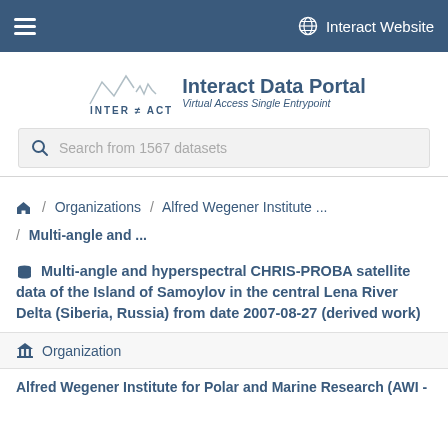Interact Website
[Figure (logo): INTERACT logo with mountain/data line graphic and text 'INTER ACT / Virtual Access Single Entrypoint']
Search from 1567 datasets
/ Organizations / Alfred Wegener Institute ... / Multi-angle and ...
Multi-angle and hyperspectral CHRIS-PROBA satellite data of the Island of Samoylov in the central Lena River Delta (Siberia, Russia) from date 2007-08-27 (derived work)
Organization
Alfred Wegener Institute for Polar and Marine Research (AWI -